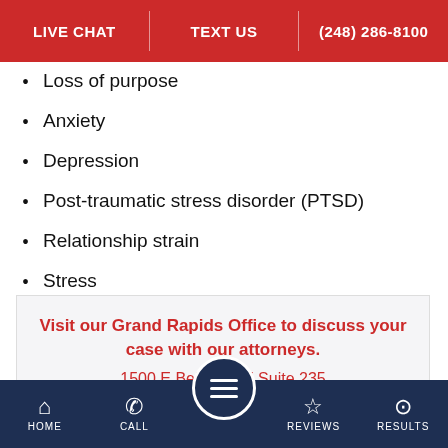LIVE CHAT | TEXT US | (248) 286-8100
Loss of purpose
Anxiety
Depression
Post-traumatic stress disorder (PTSD)
Relationship strain
Stress
Funeral costs
Visit our Grand Rapids Office to discuss your case with our attorneys.
1500 E Beltline SE Suite 235
HOME | CALL | REVIEWS | RESULTS